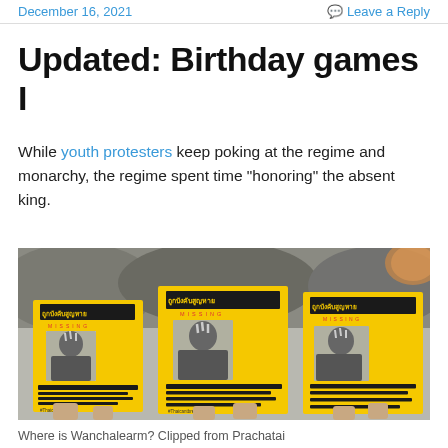December 16, 2021 | Leave a Reply
Updated: Birthday games I
While youth protesters keep poking at the regime and monarchy, the regime spent time “honoring” the absent king.
[Figure (photo): Protesters holding yellow 'MISSING' flyers with a black-and-white photo of a person making a three-finger salute, with Thai text and '#Thaicantbreathe' hashtag]
Where is Wanchalearm? Clipped from Prachatai